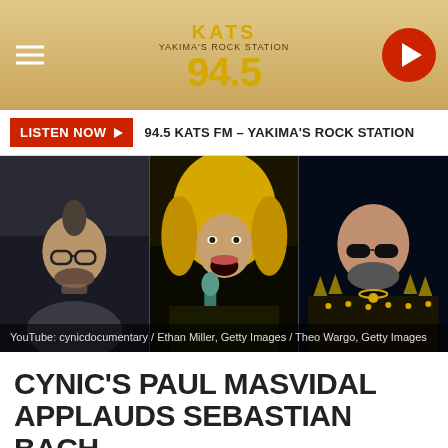KATS 94.5 FM - Yakima's Rock Station
LISTEN NOW ▶  94.5 KATS FM - YAKIMA'S ROCK STATION
[Figure (photo): Three side-by-side photos: left shows Paul Masvidal (YouTube: cynicdocumentary), center shows Sebastian Bach singing with microphone (Ethan Miller, Getty Images), right shows Rob Halford in studded jacket (Theo Wargo, Getty Images)]
YouTube: cynicdocumentary / Ethan Miller, Getty Images / Theo Wargo, Getty Images
CYNIC'S PAUL MASVIDAL APPLAUDS SEBASTIAN BACH